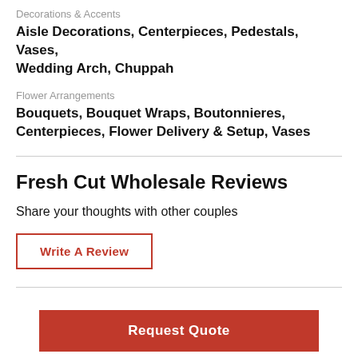Decorations & Accents
Aisle Decorations, Centerpieces, Pedestals, Vases, Wedding Arch, Chuppah
Flower Arrangements
Bouquets, Bouquet Wraps, Boutonnieres, Centerpieces, Flower Delivery & Setup, Vases
Fresh Cut Wholesale Reviews
Share your thoughts with other couples
Write A Review
Request Quote